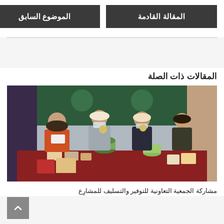المقالة القادمة
الموضوع السابق
المقالات ذات الصلة
[Figure (photo): Women standing behind a table displaying various food products including jars, containers, olives, and packaged goods at an exhibition or market event. They are wearing headscarves and some are wearing masks.]
مشاركة الجمعية التعاونية للتوفير والتسليف للمشاركة